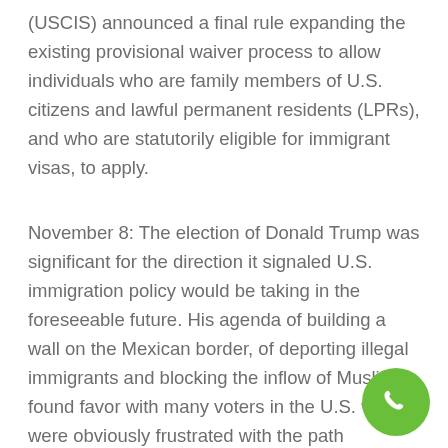(USCIS) announced a final rule expanding the existing provisional waiver process to allow individuals who are family members of U.S. citizens and lawful permanent residents (LPRs), and who are statutorily eligible for immigrant visas, to apply.
November 8: The election of Donald Trump was significant for the direction it signaled U.S. immigration policy would be taking in the foreseeable future. His agenda of building a wall on the Mexican border, of deporting illegal immigrants and blocking the inflow of Muslims found favor with many voters in the U.S. who were obviously frustrated with the path immigration policy had been taking.